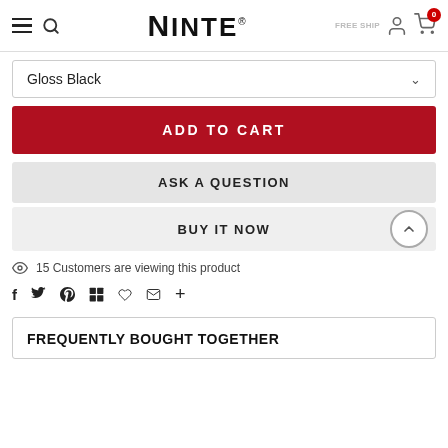NINTE - Navigation header with logo, search, user and cart icons
Gloss Black
ADD TO CART
ASK A QUESTION
BUY IT NOW
15 Customers are viewing this product
Social share icons: f, twitter, pinterest, grid, bookmark, heart, email, plus
FREQUENTLY BOUGHT TOGETHER